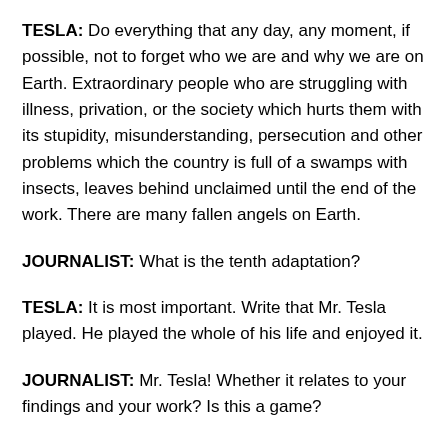TESLA: Do everything that any day, any moment, if possible, not to forget who we are and why we are on Earth. Extraordinary people who are struggling with illness, privation, or the society which hurts them with its stupidity, misunderstanding, persecution and other problems which the country is full of a swamps with insects, leaves behind unclaimed until the end of the work. There are many fallen angels on Earth.
JOURNALIST: What is the tenth adaptation?
TESLA: It is most important. Write that Mr. Tesla played. He played the whole of his life and enjoyed it.
JOURNALIST: Mr. Tesla! Whether it relates to your findings and your work? Is this a game?